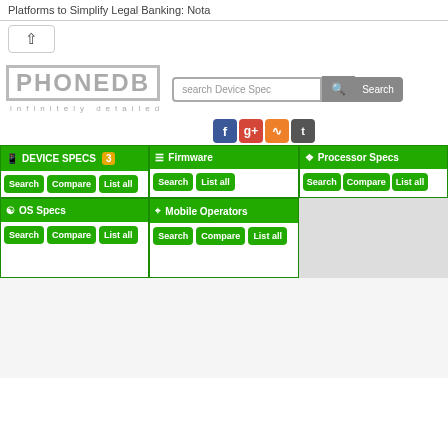Platforms to Simplify Legal Banking: Nota
[Figure (screenshot): Collapse button with up-arrow chevron]
[Figure (logo): PhoneDB logo with tagline 'infinitely detailed' and search bar]
[Figure (infographic): Social media icons: Facebook, Google+, RSS, Twitter]
[Figure (infographic): Navigation grid with Device Specs (badge 3), Firmware, Processor Specs, OS Specs, Mobile Operators sections each with Search, Compare, List all buttons]